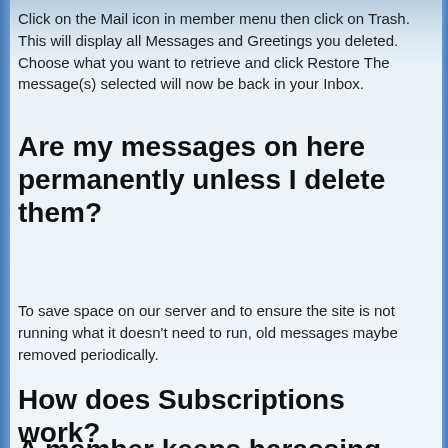Click on the Mail icon in member menu then click on Trash. This will display all Messages and Greetings you deleted. Choose what you want to retrieve and click Restore The message(s) selected will now be back in your Inbox.
Are my messages on here permanently unless I delete them?
To save space on our server and to ensure the site is not running what it doesn't need to run, old messages maybe removed periodically.
How does Subscriptions work?
When you subscribe to another user, that user's profile will be listed in your subscriptions page. This also applies to subscribing to other users activities such as blogs etc.
A member keeps harassing me, what can I do?